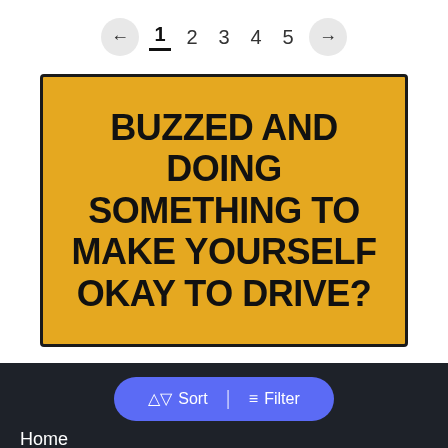← 1 2 3 4 5 →
[Figure (infographic): Yellow card with bold black uppercase text reading: BUZZED AND DOING SOMETHING TO MAKE YOURSELF OKAY TO DRIVE?]
Home
Sort | Filter
Sign in / Register